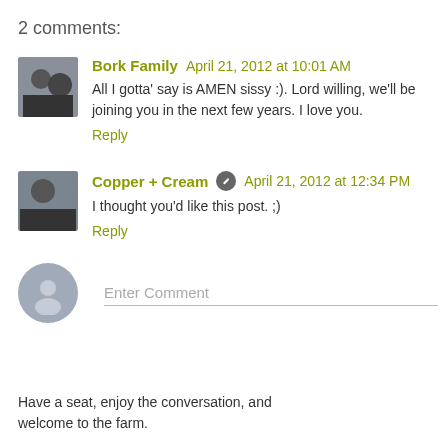2 comments:
Bork Family April 21, 2012 at 10:01 AM
All I gotta' say is AMEN sissy :). Lord willing, we'll be joining you in the next few years. I love you.
Reply
Copper + Cream April 21, 2012 at 12:34 PM
I thought you'd like this post. ;)
Reply
Enter Comment
Have a seat, enjoy the conversation, and welcome to the farm.